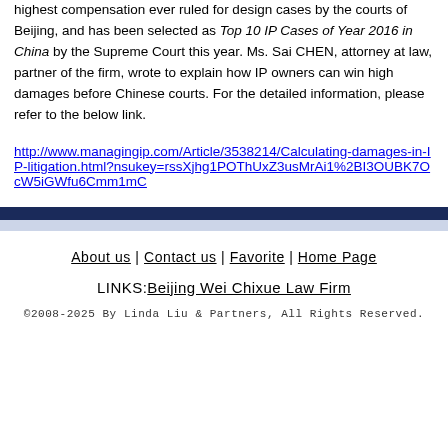highest compensation ever ruled for design cases by the courts of Beijing, and has been selected as Top 10 IP Cases of Year 2016 in China by the Supreme Court this year. Ms. Sai CHEN, attorney at law, partner of the firm, wrote to explain how IP owners can win high damages before Chinese courts. For the detailed information, please refer to the below link.
http://www.managingip.com/Article/3538214/Calculating-damages-in-IP-litigation.html?nsukey=rssXjhg1POThUxZ3usMrAi1%2BI3OUBK7OcW5iGWfu6Cmm1mC
About us | Contact us | Favorite | Home Page
LINKS: Beijing Wei Chixue Law Firm
©2008-2025 By Linda Liu & Partners, All Rights Reserved.